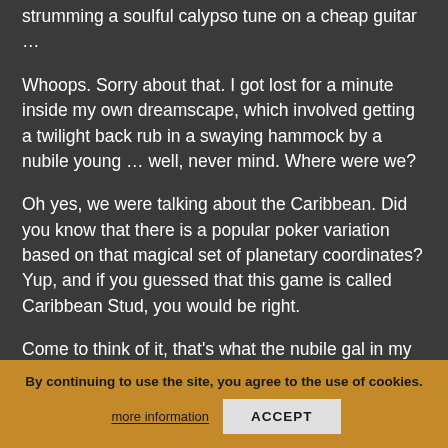strumming a soulful calypso tune on a cheap guitar …
Whoops. Sorry about that. I got lost for a minute inside my own dreamscape, which involved getting a twilight back rub in a swaying hammock by a nubile young … well, never mind. Where were we?
Oh yes, we were talking about the Caribbean. Did you know that there is a popular poker variation based on that magical set of planetary coordinates? Yup, and if you guessed that this game is called Caribbean Stud, you would be right.
Come to think of it, that's what the nubile gal in my dreamscape was calling me as she rubbed cocoa butter on my shoulders. Oh hell, forget it.
Caribbean Stud … table … quite similar in its structure to 5-Card Stud poker. Rather than testing your skills against other players at the table, in Caribbean
By continuing to use the site, you agree to the use of cookies.
more information
ACCEPT